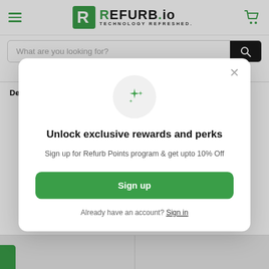[Figure (screenshot): Refurb.io website header with hamburger menu, logo, and cart icon]
What are you looking for?
Refurb Points Save up to 10% off
Desktop i5-4570
Desktop i5-4570T
Unlock exclusive rewards and perks
Sign up for Refurb Points program & get upto 10% Off
Sign up
Already have an account? Sign in